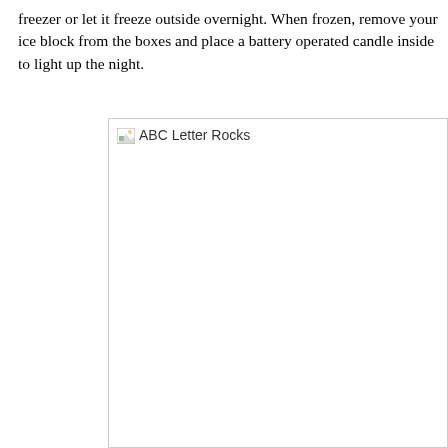freezer or let it freeze outside overnight. When frozen, remove your ice block from the boxes and place a battery operated candle inside to light up the night.
[Figure (photo): Broken image placeholder labeled 'ABC Letter Rocks']